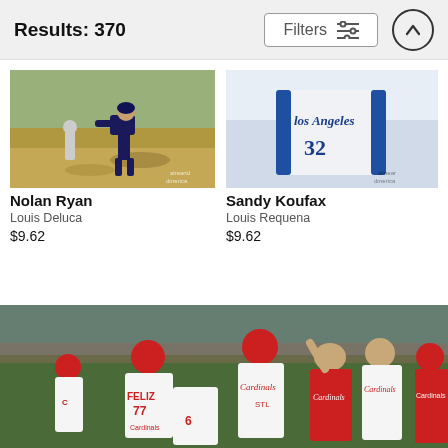Results: 370
[Figure (screenshot): Filters button with sliders icon and up-arrow scroll button]
[Figure (photo): Nolan Ryan baseball action photo, watermarked by aireartamerica]
Nolan Ryan
Louis Deluca
$9.62
[Figure (photo): Sandy Koufax Los Angeles Dodgers uniform photo, watermarked by alineamerica]
Sandy Koufax
Louis Requena
$9.62
[Figure (photo): St. Louis Cardinals baseball team celebration photo, players wearing red and white Cardinals uniforms, player FELIZ #77, player #6 visible, Cardinals logos on jerseys]